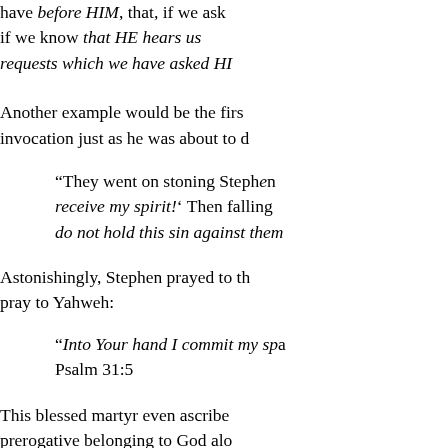have before HIM, that, if we ask if we know that HE hears us requests which we have asked HI
Another example would be the first invocation just as he was about to d
“They went on stoning Stephen receive my spirit!’ Then falling do not hold this sin against them
Astonishingly, Stephen prayed to th pray to Yahweh:
“Into Your hand I commit my sp Psalm 31:5
This blessed martyr even ascribe prerogative belonging to God alo affirm:
“And Jesus seeing their faith sai some of the scribes were sitting man speak that way? He is alone?’ Immediately Jesus, awa